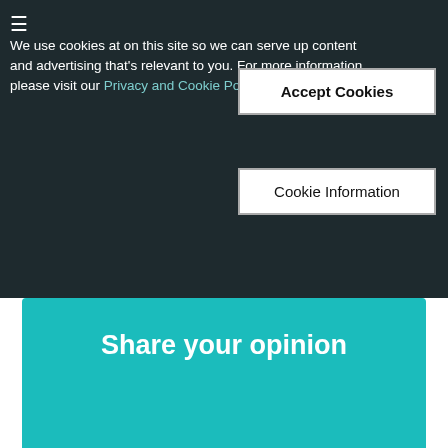We use cookies at on this site so we can serve up content and advertising that's relevant to you. For more information, please visit our Privacy and Cookie Policy
Accept Cookies
Cookie Information
Share your opinion
Start Commenting
Terms | Privacy | Help | Feedback
Powered by Insticator